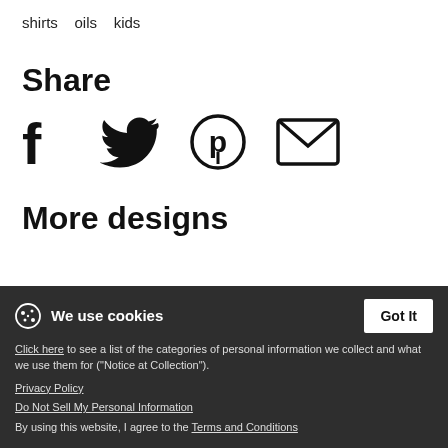shirts   oils   kids
Share
[Figure (infographic): Row of four social sharing icons: Facebook, Twitter, Pinterest, Email]
More designs
[Figure (infographic): Loading spinners for product thumbnails]
We use cookies
Click here to see a list of the categories of personal information we collect and what we use them for ("Notice at Collection").
Privacy Policy
Do Not Sell My Personal Information
By using this website, I agree to the Terms and Conditions